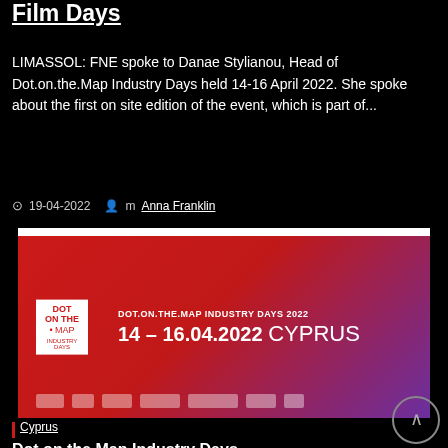Film Days
LIMASSOL: FNE spoke to Danae Stylianou, Head of Dot.on.the.Map Industry Days held 14-16 April 2022. She spoke about the first on site edition of the event, which is part of...
19-04-2022  m Anna Franklin
[Figure (photo): Dot.on.the.Map Industry Days 2022 promotional banner showing red-to-purple gradient background with event logo and text: DOT.ON.THE.MAP INDUSTRY DAYS 2022 / 14 - 16.04.2022 CYPRUS, with sponsor logos at bottom]
Cyprus
Dot.on.the.Map Industry Days Announces Programme of Events